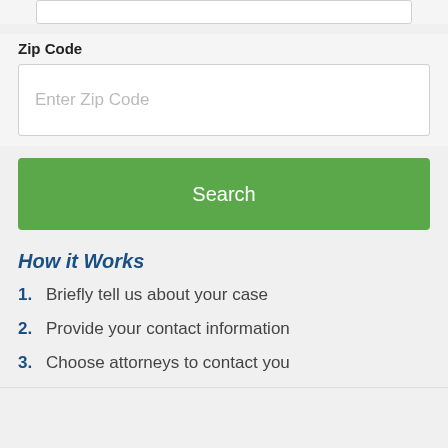Zip Code
Enter Zip Code
Search
How it Works
1. Briefly tell us about your case
2. Provide your contact information
3. Choose attorneys to contact you